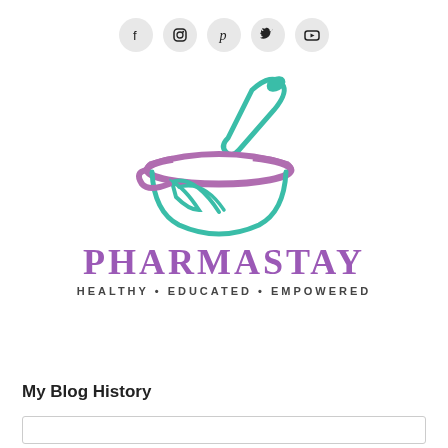[Figure (logo): Social media icons row: Facebook, Instagram, Pinterest, Twitter, YouTube — circular gray buttons]
[Figure (logo): Pharmastay logo: mortar and pestle with teal and purple colors, leaf design inside bowl. Brand name PHARMASTAY in purple serif font. Tagline: HEALTHY • EDUCATED • EMPOWERED]
My Blog History